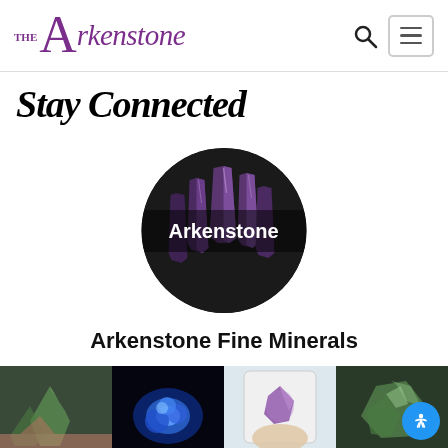THE Arkenstone
Stay Connected
[Figure (illustration): Circular logo with amethyst crystal background and 'Arkenstone' text overlay on black background]
Arkenstone Fine Minerals
[Figure (photo): Strip of four mineral/crystal photos: green mineral on rock, blue fluorescent mineral, purple crystal in hand, green mineral specimen]